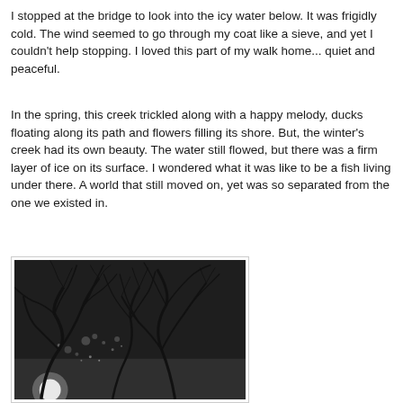I stopped at the bridge to look into the icy water below. It was frigidly cold. The wind seemed to go through my coat like a sieve, and yet I couldn't help stopping. I loved this part of my walk home... quiet and peaceful.
In the spring, this creek trickled along with a happy melody, ducks floating along its path and flowers filling its shore. But, the winter's creek had its own beauty. The water still flowed, but there was a firm layer of ice on its surface. I wondered what it was like to be a fish living under there. A world that still moved on, yet was so separated from the one we existed in.
[Figure (photo): Black and white photograph of bare winter tree branches silhouetted against a dark background with faint lights visible in the background, suggesting a nighttime winter scene.]